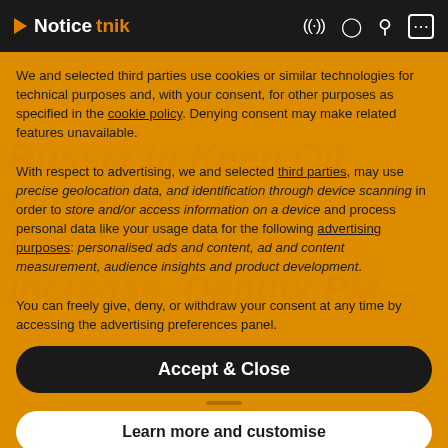NoticeTnik
Russia to Keep Oil Output at Current Levels Amid Tax Increase, Deputy PM
We and selected third parties use cookies or similar technologies for technical purposes and, with your consent, for other purposes as specified in the cookie policy. Denying consent may make related features unavailable.
With respect to advertising, we and selected third parties, may use precise geolocation data, and identification through device scanning in order to store and/or access information on a device and process personal data like your usage data for the following advertising purposes: personalised ads and content, ad and content measurement, audience insights and product development.
You can freely give, deny, or withdraw your consent at any time by accessing the advertising preferences panel.
Accept & Close
Learn more and customise
29 minutes ago   Three Indicted in Prison Death of Notorious US Mob Boss 'Whitey' Bulger ...